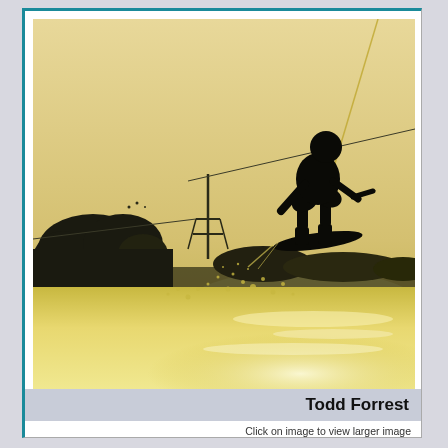[Figure (photo): Sepia-toned action photo of a wakeboarder (silhouette) mid-air over a lake with water spray below and trees/power lines in the background under a pale golden sky.]
Todd Forrest
Click on image to view larger image